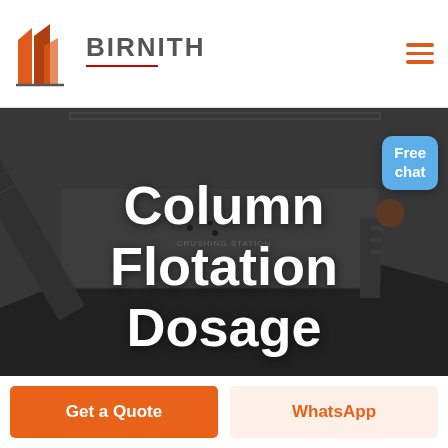[Figure (logo): Birnith company logo with orange/red building icon and BIRNITH brand name]
[Figure (photo): Industrial crushing station machinery with coal/aggregate, dark moody photo]
Column Flotation Dosage
[Figure (other): Free chat blue bubble button with avatar]
Get a Quote
WhatsApp